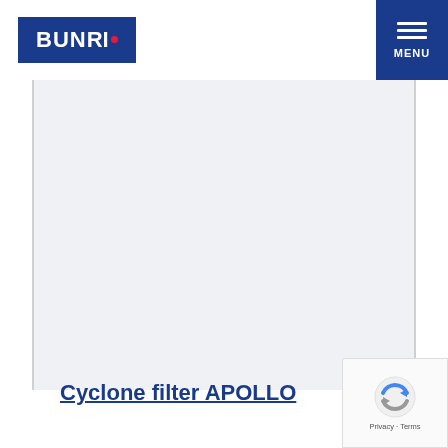BUNRI
[Figure (other): Large empty light-gray content area placeholder]
Cyclone filter APOLLO
[Figure (logo): Google reCAPTCHA badge with spinning arrows icon and Privacy - Terms text]